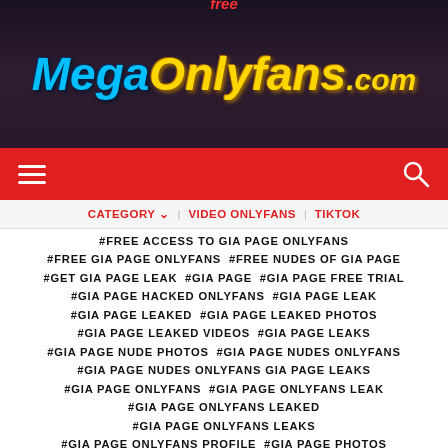[Figure (illustration): Website banner for MegaOnlyFans.com showing stylized text logo with the words 'Free', 'Mega', 'OnlyFans.com' and silhouettes of people in background]
CATEGORY ▾  VIDEO ONLYFANS  TIKTOK
#FREE ACCESS TO GIA PAGE ONLYFANS #FREE GIA PAGE ONLYFANS #FREE NUDES OF GIA PAGE #GET GIA PAGE LEAK #GIA PAGE #GIA PAGE FREE TRIAL #GIA PAGE HACKED ONLYFANS #GIA PAGE LEAK #GIA PAGE LEAKED #GIA PAGE LEAKED PHOTOS #GIA PAGE LEAKED VIDEOS #GIA PAGE LEAKS #GIA PAGE NUDE PHOTOS #GIA PAGE NUDES ONLYFANS #GIA PAGE NUDES ONLYFANS GIA PAGE LEAKS #GIA PAGE ONLYFANS #GIA PAGE ONLYFANS LEAK #GIA PAGE ONLYFANS LEAKED #GIA PAGE ONLYFANS LEAKS #GIA PAGE ONLYFANS PROFILE #GIA PAGE PHOTOS #GIA PAGE PHOTOS AND VIDEOS #GIA PAGE VIDEOS #HACKED #HACKED GIA PAGE